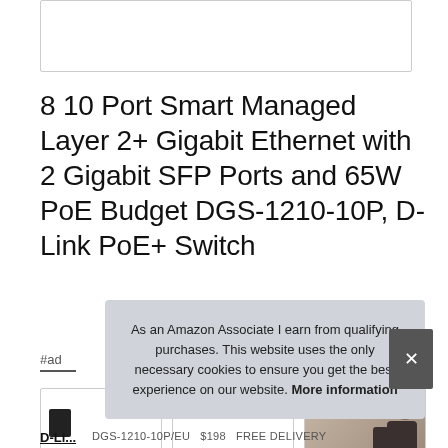[Figure (other): White rectangular image placeholder with light grey border at top of page]
8 10 Port Smart Managed Layer 2+ Gigabit Ethernet with 2 Gigabit SFP Ports and 65W PoE Budget DGS-1210-10P, D-Link PoE+ Switch
#ad
[Figure (photo): Three product image thumbnails in a row - first shows a black device icon, second is empty white, third shows a person in background]
As an Amazon Associate I earn from qualifying purchases. This website uses the only necessary cookies to ensure you get the best experience on our website. More information
D-Li...